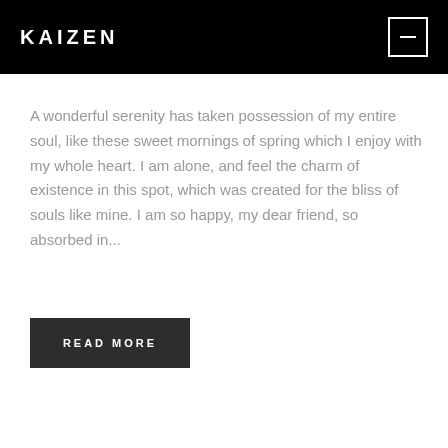KAIZEN
A wonderful serenity has taken possession of my entire soul, like these sweet mornings of spring which I enjoy with my whole heart. I am alone, and feel the charm of existence in this spot, which was created for the bliss of souls like mine. I am so happy, my dear friend, so absorbed in...
READ MORE